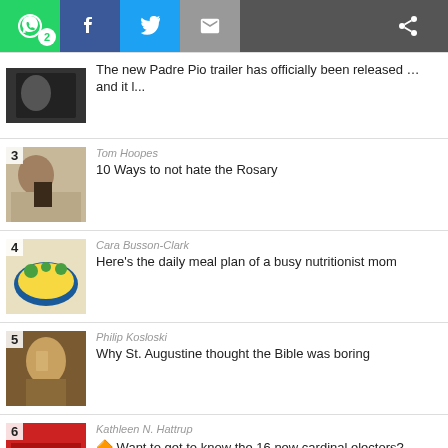[Figure (screenshot): Social sharing bar with WhatsApp (badge 2), Facebook, Twitter, Email, and share icons]
The new Padre Pio trailer has officially been released … and it l...
Tom Hoopes — 10 Ways to not hate the Rosary
Cara Busson-Clark — Here's the daily meal plan of a busy nutritionist mom
Philip Kosloski — Why St. Augustine thought the Bible was boring
Kathleen N. Hattrup — Want to get to know the 16 new cardinal electors?